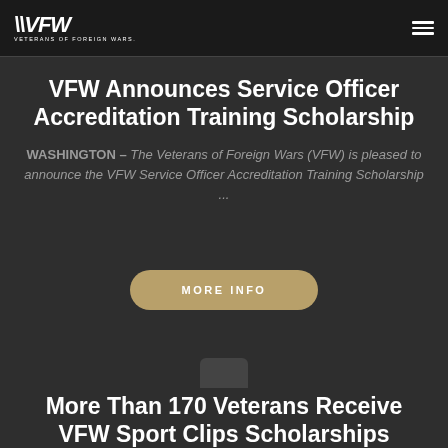VFW VETERANS OF FOREIGN WARS.
VFW Announces Service Officer Accreditation Training Scholarship
WASHINGTON - The Veterans of Foreign Wars (VFW) is pleased to announce the VFW Service Officer Accreditation Training Scholarship ...
[Figure (other): MORE INFO button in tan/gold color with rounded corners]
More Than 170 Veterans Receive VFW Sport Clips Scholarships